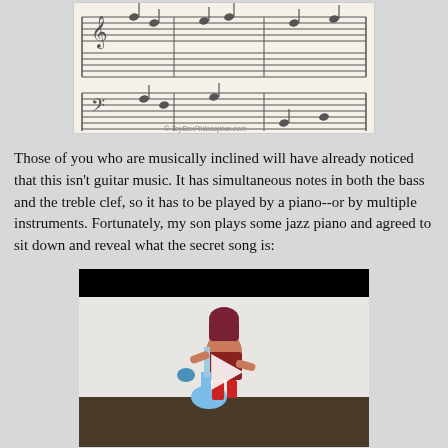[Figure (illustration): Sheet music showing musical notation with treble and bass clef staves, multiple measures of notes]
Those of you who are musically inclined will have already noticed that this isn't guitar music.  It has simultaneous notes in both the bass and the treble clef, so it has to be played by a piano--or by multiple instruments.  Fortunately, my son plays some jazz piano and agreed to sit down and reveal what the secret song is:
[Figure (screenshot): Video player thumbnail showing a doll holding a guitar, with a play button overlay and black top bar]